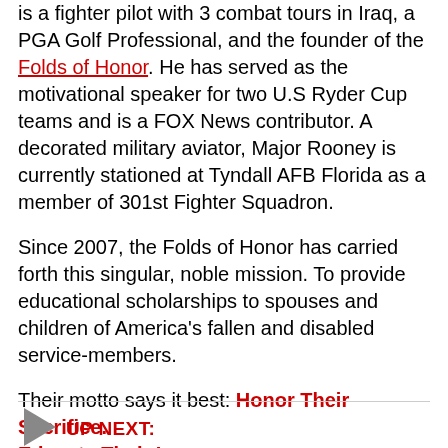is a fighter pilot with 3 combat tours in Iraq, a PGA Golf Professional, and the founder of the Folds of Honor. He has served as the motivational speaker for two U.S Ryder Cup teams and is a FOX News contributor. A decorated military aviator, Major Rooney is currently stationed at Tyndall AFB Florida as a member of 301st Fighter Squadron.
Since 2007, the Folds of Honor has carried forth this singular, noble mission. To provide educational scholarships to spouses and children of America's fallen and disabled service-members.
Their motto says it best: Honor Their Sacrifice. Educate Their Legacy.
UP NEXT: